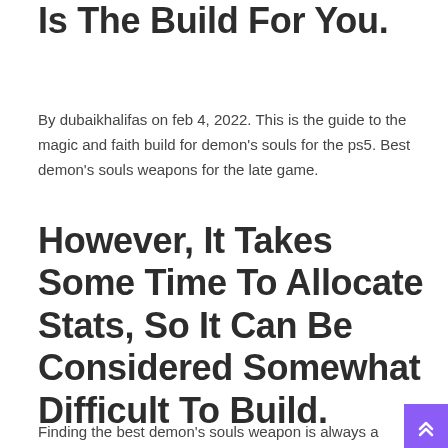Is The Build For You.
By dubaikhalifas on feb 4, 2022. This is the guide to the magic and faith build for demon's souls for the ps5. Best demon's souls weapons for the late game.
However, It Takes Some Time To Allocate Stats, So It Can Be Considered Somewhat Difficult To Build.
Finding the best demon's souls weapon is always a